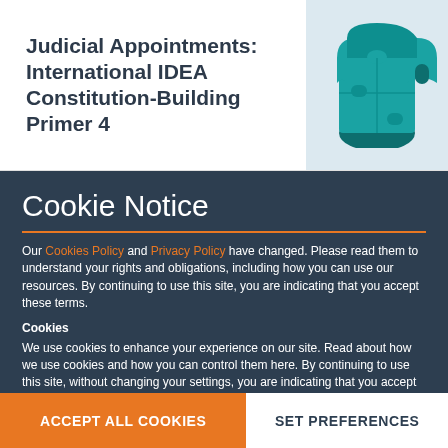Judicial Appointments: International IDEA Constitution-Building Primer 4
[Figure (illustration): Teal/green puzzle pieces arranged in a scroll or curved shape on a light blue background]
Cookie Notice
Our Cookies Policy and Privacy Policy have changed. Please read them to understand your rights and obligations, including how you can use our resources. By continuing to use this site, you are indicating that you accept these terms.
Cookies
We use cookies to enhance your experience on our site. Read about how we use cookies and how you can control them here. By continuing to use this site, without changing your settings, you are indicating that you accept this policy.
ACCEPT ALL COOKIES
SET PREFERENCES